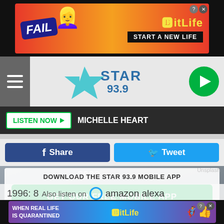[Figure (screenshot): BitLife mobile advertisement banner at top: FAIL text, cartoon character, BitLife logo, START A NEW LIFE text]
[Figure (logo): Star 93.9 radio station logo with star icon, teal/blue colors]
LISTEN NOW ▶  MICHELLE HEART
Share
Tweet
[Figure (photo): Police car with number 3002 visible, dimmed/overlaid]
DOWNLOAD THE STAR 93.9 MOBILE APP
GET OUR FREE MOBILE APP
Unsplash
1996: 8  Also listen on  amazon alexa
Violent crime total: 1132
[Figure (screenshot): BitLife advertisement at bottom: WHEN REAL LIFE IS QUARANTINED, BitLife logo with emoji characters]